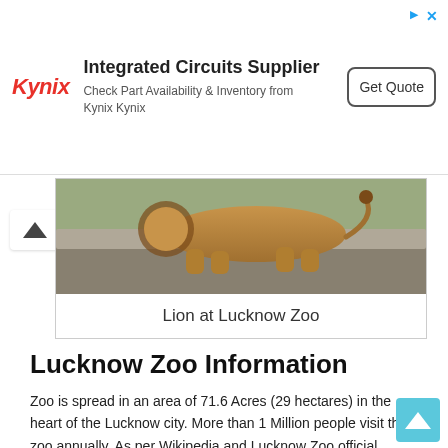[Figure (other): Kynix advertisement banner: logo in red italic, headline 'Integrated Circuits Supplier', subtext 'Check Part Availability & Inventory from Kynix Kynix', button 'Get Quote']
[Figure (photo): Photo of a lion at Lucknow Zoo, showing the animal resting on a concrete ledge with greenery in background]
Lion at Lucknow Zoo
Lucknow Zoo Information
Zoo is spread in an area of 71.6 Acres (29 hectares) in the heart of the Lucknow city. More than 1 Million people visit the zoo annually. As per Wikipedia and Lucknow Zoo official website, around 11 to 12 lacs travelers visit the Zoo annually. It has around 1000 number of animal, birds and reptiles of about 100 species.